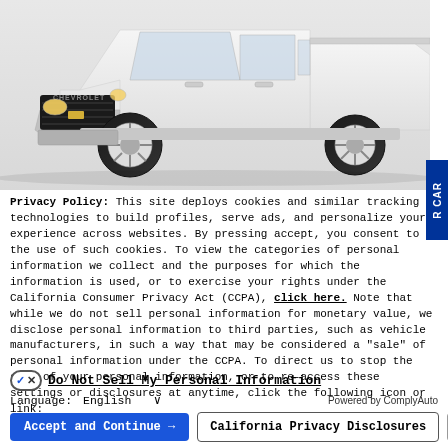[Figure (photo): White Chevrolet Silverado pickup truck shown from front 3/4 angle on white background]
Privacy Policy: This site deploys cookies and similar tracking technologies to build profiles, serve ads, and personalize your experience across websites. By pressing accept, you consent to the use of such cookies. To view the categories of personal information we collect and the purposes for which the information is used, or to exercise your rights under the California Consumer Privacy Act (CCPA), click here. Note that while we do not sell personal information for monetary value, we disclose personal information to third parties, such as vehicle manufacturers, in such a way that may be considered a "sale" of personal information under the CCPA. To direct us to stop the sale of your personal information, or to re-access these settings or disclosures at anytime, click the following icon or link:
Do Not Sell My Personal Information
Language:  English   ∨   Powered by ComplyAuto
Accept and Continue →   California Privacy Disclosures   ×